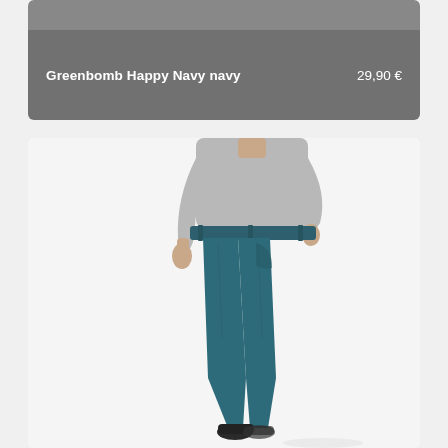Greenbomb Happy Navy navy    29,90 €
[Figure (photo): A man wearing teal/navy slim chino trousers with a light grey t-shirt, one hand in pocket, photographed from waist down on a white background.]